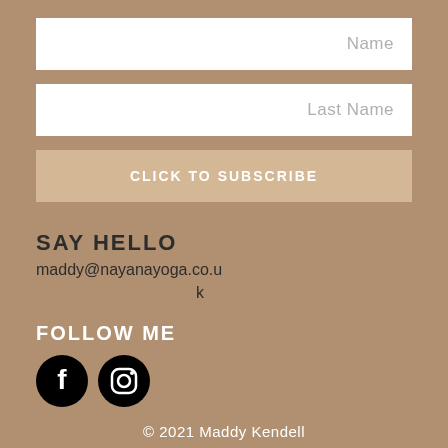Name
Last Name
CLICK TO SUBSCRIBE
SAY HELLO
maddy@nayanayoga.co.uk
FOLLOW ME
[Figure (illustration): Facebook and Instagram social media icons (black circular icons)]
© 2021 Maddy Kendell
Privacy Policy